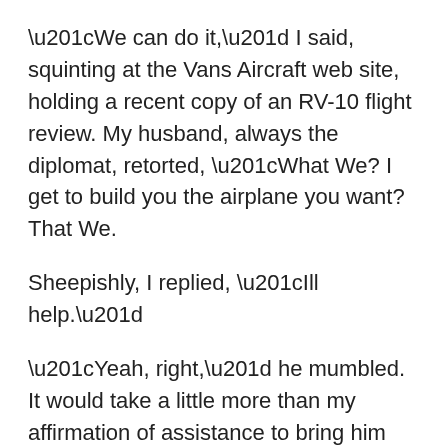“We can do it,” I said, squinting at the Vans Aircraft web site, holding a recent copy of an RV-10 flight review. My husband, always the diplomat, retorted, “What We? I get to build you the airplane you want? That We.
Sheepishly, I replied, “Ill help.”
“Yeah, right,” he mumbled. It would take a little more than my affirmation of assistance to bring him around.
What had held him back was experience. Our first kit aircraft, a Kitfox IV, was built when our children were